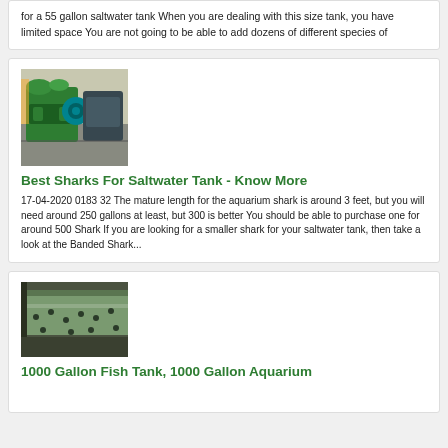for a 55 gallon saltwater tank When you are dealing with this size tank, you have limited space You are not going to be able to add dozens of different species of
[Figure (photo): Industrial green machinery/equipment in a factory setting]
Best Sharks For Saltwater Tank - Know More
17-04-2020 0183 32 The mature length for the aquarium shark is around 3 feet, but you will need around 250 gallons at least, but 300 is better You should be able to purchase one for around 500 Shark If you are looking for a smaller shark for your saltwater tank, then take a look at the Banded Shark...
[Figure (photo): Close-up of industrial green tank or container with perforations]
1000 Gallon Fish Tank, 1000 Gallon Aquarium